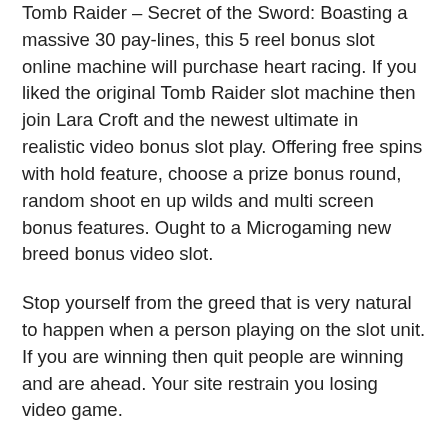Tomb Raider – Secret of the Sword: Boasting a massive 30 pay-lines, this 5 reel bonus slot online machine will purchase heart racing. If you liked the original Tomb Raider slot machine then join Lara Croft and the newest ultimate in realistic video bonus slot play. Offering free spins with hold feature, choose a prize bonus round, random shoot en up wilds and multi screen bonus features. Ought to a Microgaming new breed bonus video slot.
Stop yourself from the greed that is very natural to happen when a person playing on the slot unit. If you are winning then quit people are winning and are ahead. Your site restrain you losing video game.
There are innumerable benefits that follow with free online slots. For instance, by opting with no charge online slots you can play your favorite slot games and which without risking real money. This will allow you to wager as well as play without having to worry whether you will suffer your